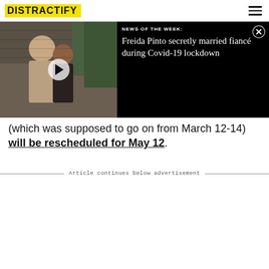DISTRACTIFY
[Figure (screenshot): Video thumbnail showing a man and woman in front of a brick wall with plants, with a play button overlay. Right panel shows news headline on black background: NEWS OF THE WEEK: Freida Pinto secretly married fiancé during Covid-19 lockdown]
(which was supposed to go on from March 12-14) will be rescheduled for May 12.
Article continues below advertisement